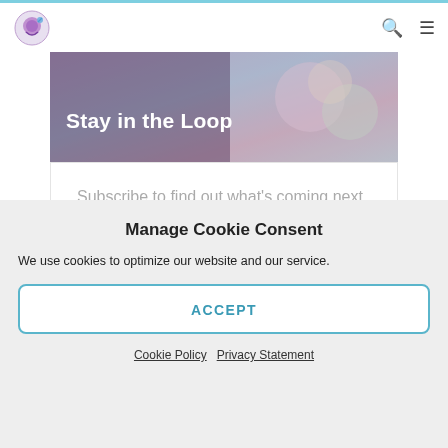Crochetville - navigation bar with logo, search and menu icons
[Figure (photo): Hero banner image showing crocheted items on a wooden surface with the text 'Stay in the Loop' overlaid in white bold font]
Subscribe to find out what's coming next on Crochetville.
Manage Cookie Consent
We use cookies to optimize our website and our service.
ACCEPT
Cookie Policy   Privacy Statement